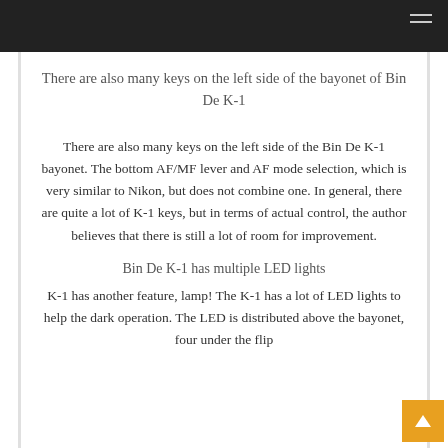There are also many keys on the left side of the bayonet of Bin De K-1
There are also many keys on the left side of the Bin De K-1 bayonet. The bottom AF/MF lever and AF mode selection, which is very similar to Nikon, but does not combine one. In general, there are quite a lot of K-1 keys, but in terms of actual control, the author believes that there is still a lot of room for improvement.
Bin De K-1 has multiple LED lights
K-1 has another feature, lamp! The K-1 has a lot of LED lights to help the dark operation. The LED is distributed above the bayonet, four under the flip